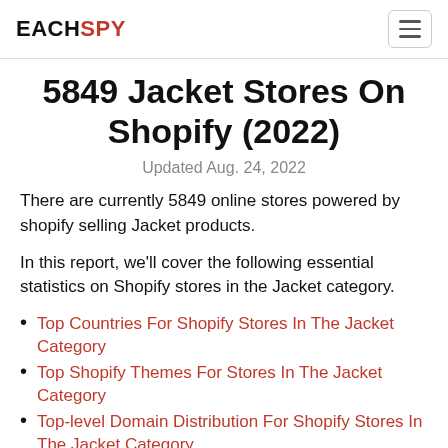EACHSPY
5849 Jacket Stores On Shopify (2022)
Updated Aug. 24, 2022
There are currently 5849 online stores powered by shopify selling Jacket products.
In this report, we'll cover the following essential statistics on Shopify stores in the Jacket category.
Top Countries For Shopify Stores In The Jacket Category
Top Shopify Themes For Stores In The Jacket Category
Top-level Domain Distribution For Shopify Stores In The Jacket Category